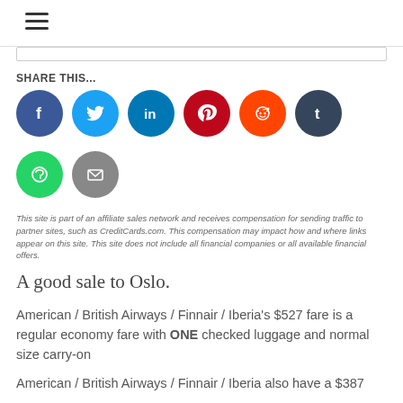≡
[Figure (infographic): Social share buttons: Facebook (dark blue), Twitter (light blue), LinkedIn (blue), Pinterest (dark red), Reddit (orange), Tumblr (dark navy), WhatsApp (green), Email (grey)]
SHARE THIS...
This site is part of an affiliate sales network and receives compensation for sending traffic to partner sites, such as CreditCards.com. This compensation may impact how and where links appear on this site. This site does not include all financial companies or all available financial offers.
A good sale to Oslo.
American / British Airways / Finnair / Iberia's $527 fare is a regular economy fare with ONE checked luggage and normal size carry-on
American / British Airways / Finnair / Iberia also have a $387